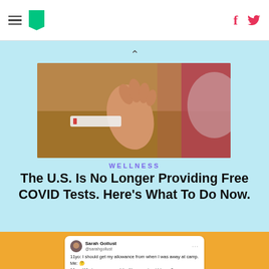HuffPost navigation bar with hamburger menu, logo, Facebook and Twitter icons
[Figure (photo): Close-up photo of a hand near a COVID rapid antigen test on a wooden table]
WELLNESS
The U.S. Is No Longer Providing Free COVID Tests. Here’s What To Do Now.
[Figure (screenshot): Tweet from Sarah Gollust (@sarahgollust) reading: 11yo: I should get my allowance from when I was away at camp. Me: 🤔 11yo: What, so now you *don’t* support paid leave?]